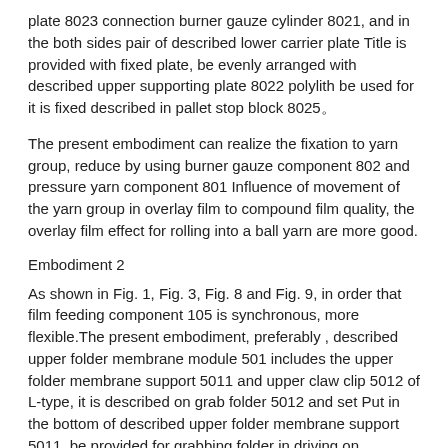plate 8023 connection burner gauze cylinder 8021, and in the both sides pair of described lower carrier plate Title is provided with fixed plate, be evenly arranged with described upper supporting plate 8022 polylith be used for it is fixed described in pallet stop block 8025。
The present embodiment can realize the fixation to yarn group, reduce by using burner gauze component 802 and pressure yarn component 801 Influence of movement of the yarn group in overlay film to compound film quality, the overlay film effect for rolling into a ball yarn are more good.
Embodiment 2
As shown in Fig. 1, Fig. 3, Fig. 8 and Fig. 9, in order that film feeding component 105 is synchronous, more flexible.The present embodiment, preferably , described upper folder membrane module 501 includes the upper folder membrane support 5011 and upper claw clip 5012 of L-type, it is described on grab folder 5012 and set Put in the bottom of described upper folder membrane support 5011, be provided for grabbing folder in driving on described upper folder membrane support 5011 5012 cylinders 110 vertically moved, and the seniometer 5012 that folder 5012